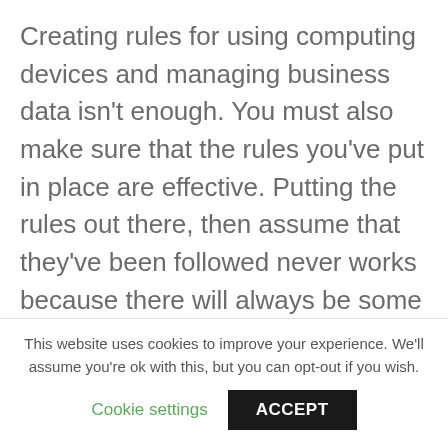Creating rules for using computing devices and managing business data isn't enough. You must also make sure that the rules you've put in place are effective. Putting the rules out there, then assume that they've been followed never works because there will always be some people who don't understand, notice, or choose to follow the rules. You'll also have some people who will forget about them or make mistakes. Any of these happenstances will result in incidents and breaches of your business' information. To prevent this from getting out of hand,
This website uses cookies to improve your experience. We'll assume you're ok with this, but you can opt-out if you wish.
Cookie settings   ACCEPT